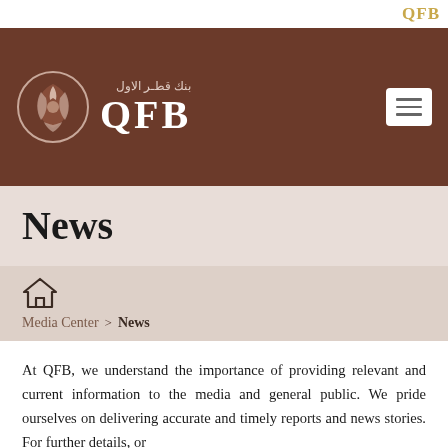QFB
[Figure (logo): QFB Qatar First Bank logo with Arabic text and circular emblem on brown banner background with hamburger menu button]
News
Media Center > News
At QFB, we understand the importance of providing relevant and current information to the media and general public. We pride ourselves on delivering accurate and timely reports and news stories. For further details, or